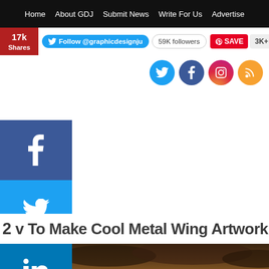Home  About GDJ  Submit News  Write For Us  Advertise
17k Shares  Follow @graphicdesignju  59K followers  SAVE  3K+
[Figure (screenshot): Social media icons: Twitter (blue), Facebook (blue), Instagram (gradient), RSS (orange)]
[Figure (screenshot): Left share sidebar with Facebook, Twitter, LinkedIn, Pinterest, and more buttons]
2 How To Make Cool Metal Wing Artwork in Photoshop
[Figure (photo): Dark dramatic cloudy sky photo used as article hero image]